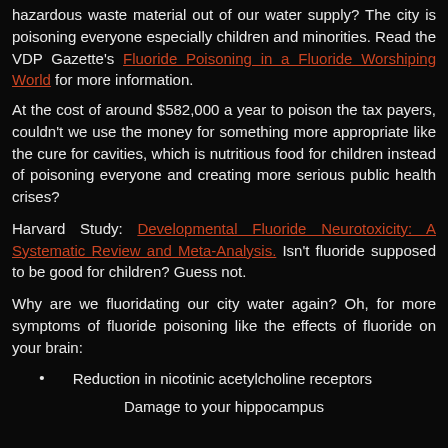hazardous waste material out of our water supply? The city is poisoning everyone especially children and minorities. Read the VDP Gazette's Fluoride Poisoning in a Fluoride Worshiping World for more information.
At the cost of around $582,000 a year to poison the tax payers, couldn't we use the money for something more appropriate like the cure for cavities, which is nutritious food for children instead of poisoning everyone and creating more serious public health crises?
Harvard Study: Developmental Fluoride Neurotoxicity: A Systematic Review and Meta-Analysis. Isn't fluoride supposed to be good for children? Guess not.
Why are we fluoridating our city water again? Oh, for more symptoms of fluoride poisoning like the effects of fluoride on your brain:
Reduction in nicotinic acetylcholine receptors
Damage to your hippocampus